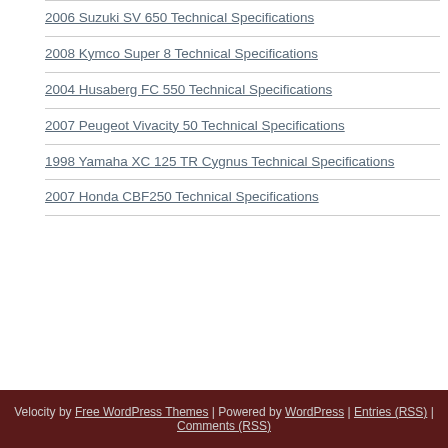2006 Suzuki SV 650 Technical Specifications
2008 Kymco Super 8 Technical Specifications
2004 Husaberg FC 550 Technical Specifications
2007 Peugeot Vivacity 50 Technical Specifications
1998 Yamaha XC 125 TR Cygnus Technical Specifications
2007 Honda CBF250 Technical Specifications
Velocity by Free WordPress Themes | Powered by WordPress | Entries (RSS) | Comments (RSS)